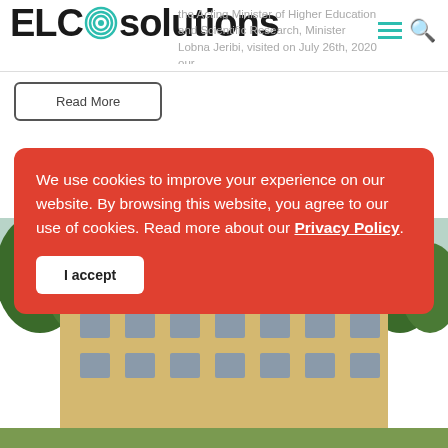ELCO solutions
the Acting Minister of Higher Education and Scientific Research, Minister Lobna Jeribi, visited on July 26th, 2020 our ... 0 laboratory in ...
Read More
[Figure (photo): Outdoor photo of a building with trees in foreground]
We use cookies to improve your experience on our website. By browsing this website, you agree to our use of cookies. Read more about our Privacy Policy.
I accept